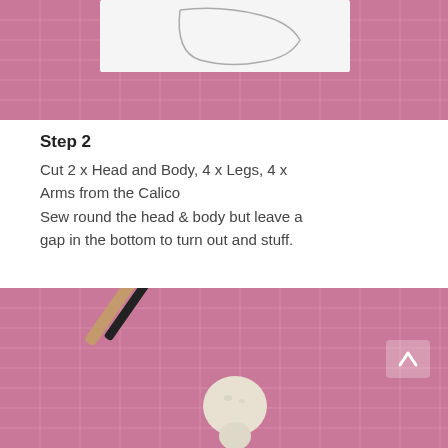[Figure (photo): Top portion of photo showing a white paper pattern piece with a curved line/hole drawn on it, placed on a pink/mauve cutting mat with white grid lines.]
Step 2
Cut 2 x Head and Body, 4 x Legs, 4 x Arms from the Calico
Sew round the head & body but leave a gap in the bottom to turn out and stuff.
[Figure (photo): Photo of a pink cutting mat with white grid lines, two turning tools (a wooden dowel and a black tool), and a small stuffed calico doll head/body piece in cream fabric placed on the mat.]